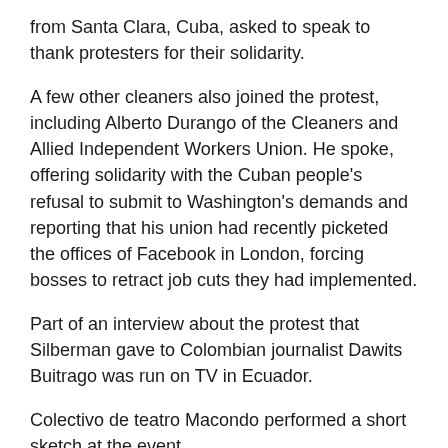from Santa Clara, Cuba, asked to speak to thank protesters for their solidarity.
A few other cleaners also joined the protest, including Alberto Durango of the Cleaners and Allied Independent Workers Union. He spoke, offering solidarity with the Cuban people’s refusal to submit to Washington’s demands and reporting that his union had recently picketed the offices of Facebook in London, forcing bosses to retract job cuts they had implemented.
Part of an interview about the protest that Silberman gave to Colombian journalist Dawits Buitrago was run on TV in Ecuador.
Colectivo de teatro Macondo performed a short sketch at the event.
“In an affront to Venezuela’s sovereignty, the Bank of England refuses to hand over $1 billion worth of gold owned by the Venezuelan government,” Pete Clifford, organizer of the protest in Manchester, told participants. “This is aimed, among other things, at Venezuela’s relations with revolutionary Cuba, including its